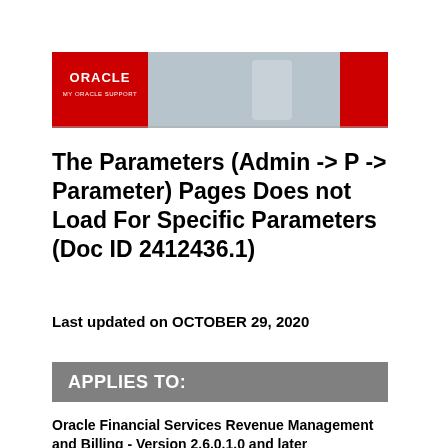[Figure (logo): Oracle My Oracle Support banner with red logo area on left, person with tablet in center, red block on right]
The Parameters (Admin -> P -> Parameter) Pages Does not Load For Specific Parameters (Doc ID 2412436.1)
Last updated on OCTOBER 29, 2020
APPLIES TO:
Oracle Financial Services Revenue Management and Billing - Version 2.6.0.1.0 and later
Information in this document applies to any platform.